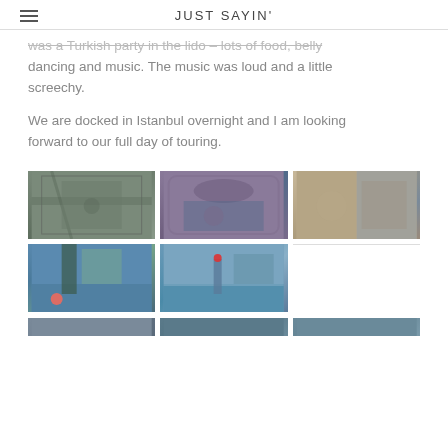JUST SAYIN'
was a Turkish party in the lido – lots of food, belly dancing and music. The music was loud and a little screechy.
We are docked in Istanbul overnight and I am looking forward to our full day of touring.
[Figure (photo): Grid of travel photos from Istanbul showing mosque interior under scaffolding, man inside ornate tiled mosque, person at souvenir display, street scene with decorative banner, view of Istanbul skyline across water, and partial photos in bottom row]